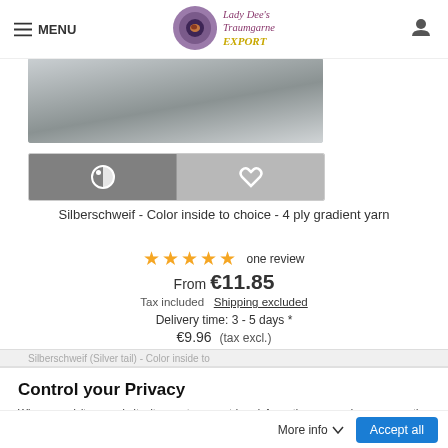≡ MENU | Lady Dee's Traumgarne EXPORT
[Figure (photo): Grey gradient yarn cone product image]
[Figure (screenshot): Two action buttons: contrast toggle (left, dark grey) and wishlist heart (right, light grey)]
Silberschweif - Color inside to choice - 4 ply gradient yarn
★★★★★ one review
From €11.85
Tax included  Shipping excluded
Delivery time: 3 - 5 days *
€9.96  (tax excl.)
Silberschweif (Silver tail) - Color inside to
Control your Privacy
When you visit any website, it may store or retrieve information on your browser, mostly in the form of 'cookies'. This information, which might be about you, your preferences, or your internet device (computer, tablet or mobile), is mostly used to make the site work as you expect it to.
More info ▾   Accept all